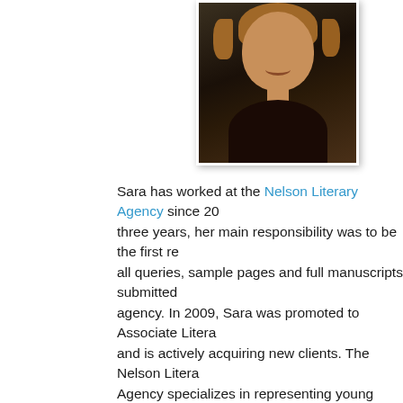[Figure (photo): Headshot of a smiling woman with wavy brown hair, wearing a dark shirt, against a dark background]
Sara has worked at the Nelson Literary Agency since 20[06. For the first] three years, her main responsibility was to be the first re[ader for] all queries, sample pages and full manuscripts submitted [to the] agency. In 2009, Sara was promoted to Associate Litera[ry Agent] and is actively acquiring new clients. The Nelson Litera[ry] Agency specializes in representing young adult and mid[dle] grade fiction, romance, science fiction and fantasy, com[edy,] and women's fiction (including chick lit) and high conc[ept] literary fiction. Nelson Literary Agency is a member of [...]